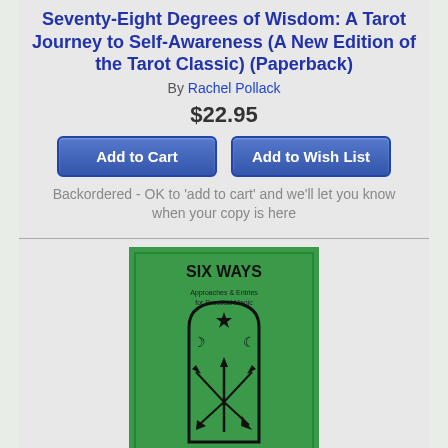Seventy-Eight Degrees of Wisdom: A Tarot Journey to Self-Awareness (A New Edition of the Tarot Classic) (Paperback)
By Rachel Pollack
$22.95
Add to Cart
Add to Wish List
Backordered - OK to 'add to cart' and we'll let you know when your copy is here
[Figure (illustration): Book cover for Six Ways: Approaches & Entries for Practical Magic. Green cover with black text and an archway symbol containing arrows and crescent moons. Author name Aidan Wachter at bottom.]
Six Ways: Approaches & Entries for Practical Magic (Paperback)
By Aidan Wachter, Aidan Wachter (Illustrator), Aidan Wachter (Cover Design by)
$23.00